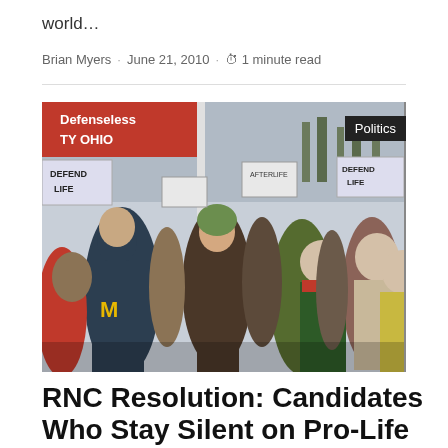world…
Brian Myers · June 21, 2010 · ⏱ 1 minute read
[Figure (photo): A large crowd of pro-life march protesters holding signs including 'Defenseless', 'TY OHIO', 'DEFEND LIFE' banners in cold weather, with a 'Politics' badge overlay in the top right corner]
RNC Resolution: Candidates Who Stay Silent on Pro-Life Issues Lose Elections